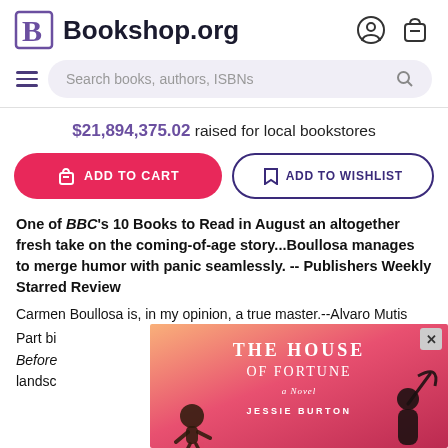Bookshop.org
$21,894,375.02 raised for local bookstores
ADD TO CART | ADD TO WISHLIST
One of BBC's 10 Books to Read in August an altogether fresh take on the coming-of-age story...Boullosa manages to merge humor with panic seamlessly. -- Publishers Weekly Starred Review
Carmen Boullosa is, in my opinion, a true master.--Alvaro Mutis
Part bi... novel, Before... e landsc... at
[Figure (illustration): Book cover advertisement for 'The House of Fortune: A Novel' by Jessie Burton, with pink/orange gradient background and silhouette figures, with a close button (x) in the top right corner]